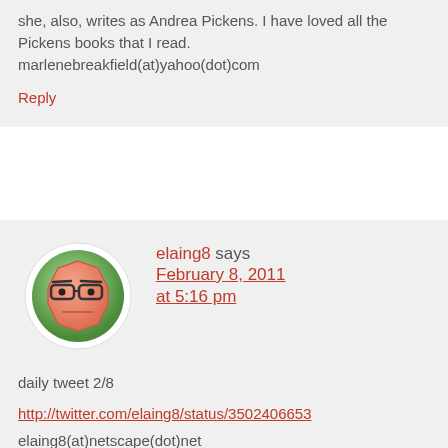she, also, writes as Andrea Pickens. I have loved all the Pickens books that I read. marlenebreakfield(at)yahoo(dot)com
Reply
[Figure (illustration): Avatar: cartoon square-ish face with thick eyebrows and glasses, bored expression, on green circular background]
elaing8 says February 8, 2011 at 5:16 pm
daily tweet 2/8
http://twitter.com/elaing8/status/3502406653
elaing8(at)netscape(dot)net